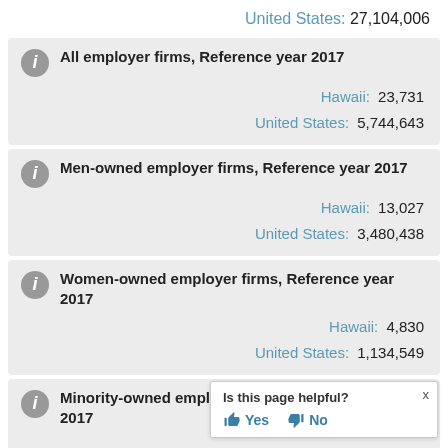United States: 27,104,006
All employer firms, Reference year 2017
Hawaii: 23,731
United States: 5,744,643
Men-owned employer firms, Reference year 2017
Hawaii: 13,027
United States: 3,480,438
Women-owned employer firms, Reference year 2017
Hawaii: 4,830
United States: 1,134,549
Minority-owned employer firms, Reference year 2017
Is this page helpful? Yes  No